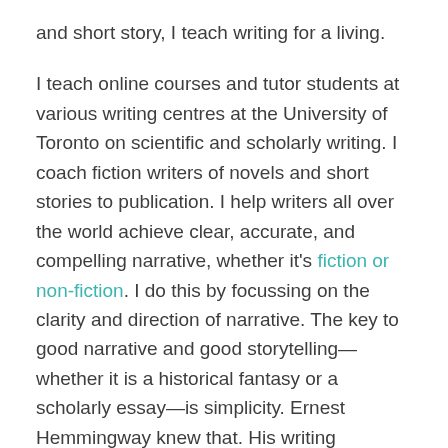and short story, I teach writing for a living.
I teach online courses and tutor students at various writing centres at the University of Toronto on scientific and scholarly writing. I coach fiction writers of novels and short stories to publication. I help writers all over the world achieve clear, accurate, and compelling narrative, whether it's fiction or non-fiction. I do this by focussing on the clarity and direction of narrative. The key to good narrative and good storytelling—whether it is a historical fantasy or a scholarly essay—is simplicity. Ernest Hemmingway knew that. His writing emulated simple and became profound.
The best writing can take something complex and express it simply. Just as with valid scientific theory